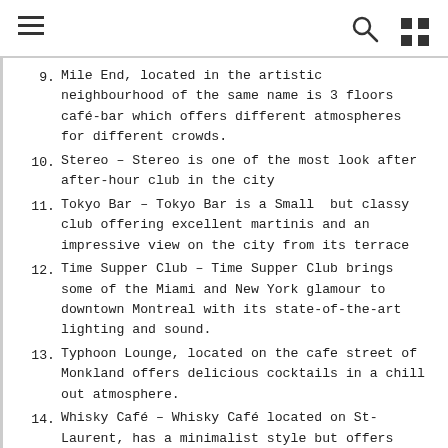navigation header with hamburger menu, search icon, and grid icon
9. Mile End, located in the artistic neighbourhood of the same name is 3 floors café-bar which offers different atmospheres for different crowds.
10. Stereo – Stereo is one of the most look after after-hour club in the city
11. Tokyo Bar – Tokyo Bar is a Small but classy club offering excellent martinis and an impressive view on the city from its terrace
12. Time Supper Club – Time Supper Club brings some of the Miami and New York glamour to downtown Montreal with its state-of-the-art lighting and sound.
13. Typhoon Lounge, located on the cafe street of Monkland offers delicious cocktails in a chill out atmosphere.
14. Whisky Café – Whisky Café located on St-Laurent, has a minimalist style but offers more than 100 varieties of 100 single malts.